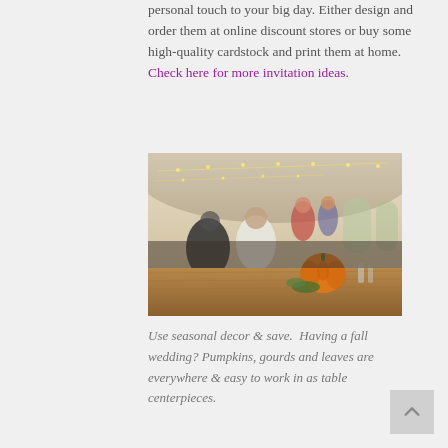personal touch to your big day. Either design and order them at online discount stores or buy some high-quality cardstock and print them at home.  Check here for more invitation ideas.
[Figure (photo): Interior of a tent wedding venue with string lights on the ceiling, wooden tables, guests seated and standing, and a large orange pumpkin centerpiece on a table in the foreground.]
Use seasonal decor & save.  Having a fall wedding? Pumpkins, gourds and leaves are everywhere & easy to work in as table centerpieces.